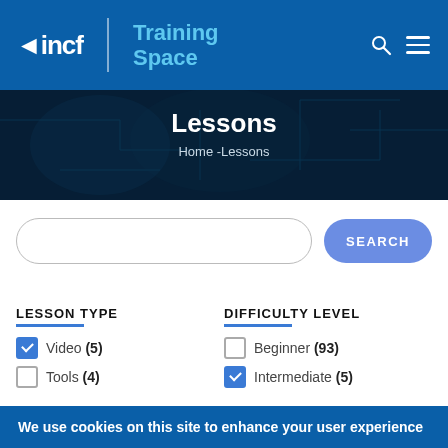[Figure (logo): INCF Training Space logo on blue navbar with search and hamburger menu icons]
Lessons
Home -Lessons
SEARCH (button)
LESSON TYPE
DIFFICULTY LEVEL
Video (5) [checked]
Tools (4)
Beginner (93)
Intermediate (5) [checked]
We use cookies on this site to enhance your user experience